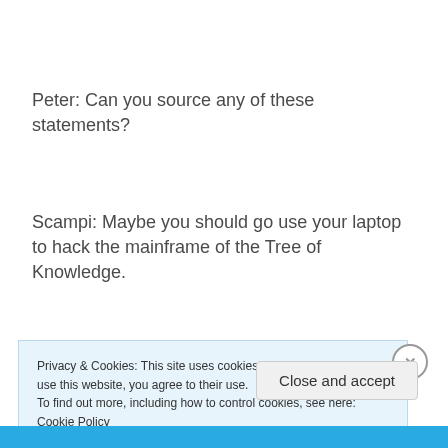Peter: Can you source any of these statements?
Scampi: Maybe you should go use your laptop to hack the mainframe of the Tree of Knowledge.
Privacy & Cookies: This site uses cookies. By continuing to use this website, you agree to their use.
To find out more, including how to control cookies, see here: Cookie Policy
Close and accept